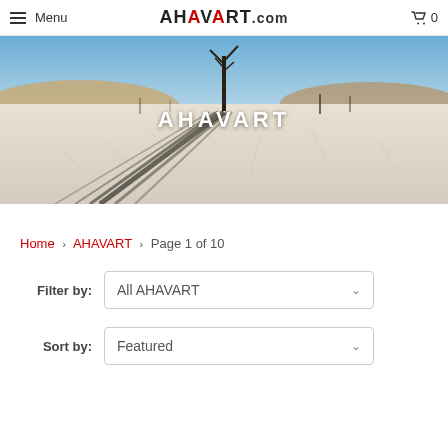Menu  AHAVART.com  0
[Figure (photo): Desert landscape with bare dead trees casting long shadows on cracked white salt flat, sand dunes in background under blue sky. Text overlay: AHAVART]
Home > AHAVART > Page 1 of 10
Filter by: All AHAVART
Sort by: Featured